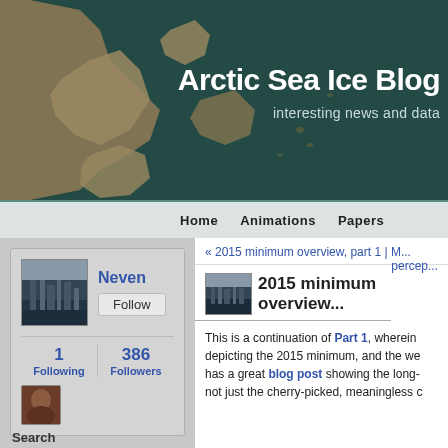[Figure (screenshot): Blog header banner with satellite/aerial map image of Arctic coastline on the left and dark teal background, with site title and subtitle text overlaid on the right]
Arctic Sea Ice Blog
interesting news and data
Home   Animations   Papers
« 2015 minimum overview, part 1 | M... percep...
[Figure (photo): Small thumbnail photo of industrial waterfront scene]
2015 minimum overview...
This is a continuation of Part 1, wherein depicting the 2015 minimum, and the we has a great blog post showing the long- not just the cherry-picked, meaningless c